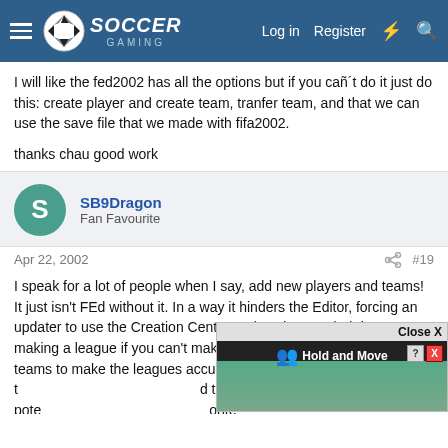Soccer Gaming — Log in | Register
I will like the fed2002 has all the options but if you cañ´t do it just do this: create player and create team, tranfer team, and that we can use the save file that we made with fifa2002.
thanks chau good work
SB9Dragon
Fan Favourite
Apr 22, 2002    #19
I speak for a lot of people when I say, add new players and teams! It just isn't FEd without it. In a way it hinders the Editor, forcing an updater to use the Creation Center and FEd2002. Their is no use making a league if you can't make the new players to update the teams to make the leagues accurate. And adding t                        d to its full pote                    orite